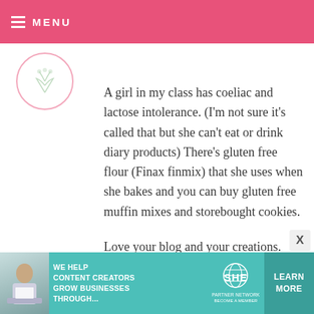MENU
A girl in my class has coeliac and lactose intolerance. (I'm not sure it's called that but she can't eat or drink diary products) There's gluten free flour (Finax finmix) that she uses when she bakes and you can buy gluten free muffin mixes and storebought cookies.

Love your blog and your creations.
~Emma Olofsson (Sweden)
[Figure (infographic): SHE Media partner network advertisement banner with woman at laptop, text 'WE HELP CONTENT CREATORS GROW BUSINESSES THROUGH...' and a LEARN MORE button]